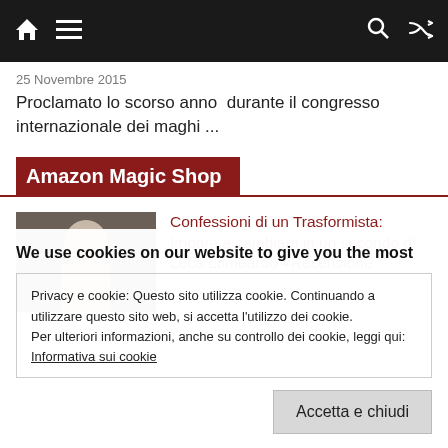Navigation bar with home icon, menu icon, search icon, shuffle icon
25 Novembre 2015
Proclamato lo scorso anno  durante il congresso internazionale dei maghi ...
Amazon Magic Shop
[Figure (photo): Photo of a man with his finger to his lips in a thinking/shushing gesture, against a dark background]
Confessioni di un Trasformista: Impara a cambiarti in un secondo di Luca Lombardo #Recensione
We use cookies on our website to give you the most
Privacy e cookie: Questo sito utilizza cookie. Continuando a utilizzare questo sito web, si accetta l'utilizzo dei cookie.
Per ulteriori informazioni, anche su controllo dei cookie, leggi qui:
Informativa sui cookie
Accetta e chiudi